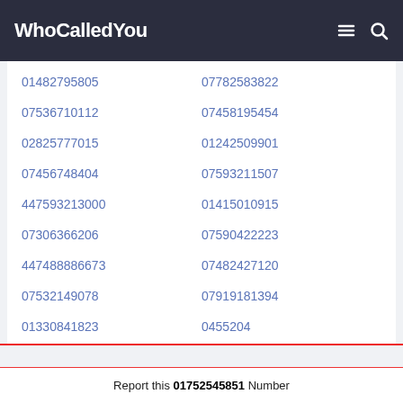WhoCalledYou
01482795805
07782583822
07536710112
07458195454
02825777015
01242509901
07456748404
07593211507
447593213000
01415010915
07306366206
07590422223
447488886673
07482427120
07532149078
07919181394
01330841823
0455204
Report this 01752545851 Number